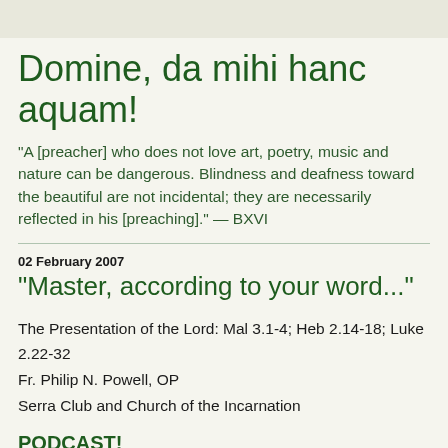Domine, da mihi hanc aquam!
"A [preacher] who does not love art, poetry, music and nature can be dangerous. Blindness and deafness toward the beautiful are not incidental; they are necessarily reflected in his [preaching]." — BXVI
02 February 2007
"Master, according to your word..."
The Presentation of the Lord: Mal 3.1-4; Heb 2.14-18; Luke 2.22-32
Fr. Philip N. Powell, OP
Serra Club and Church of the Incarnation
PODCAST!